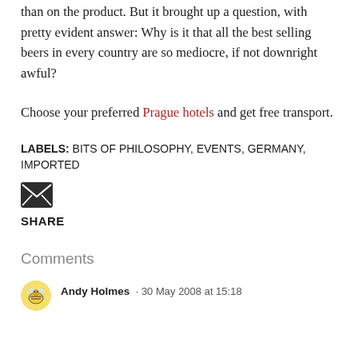than on the product. But it brought up a question, with pretty evident answer: Why is it that all the best selling beers in every country are so mediocre, if not downright awful?
Choose your preferred Prague hotels and get free transport.
LABELS: BITS OF PHILOSOPHY, EVENTS, GERMANY, IMPORTED
[Figure (other): Email/share envelope icon]
SHARE
Comments
Andy Holmes · 30 May 2008 at 15:18